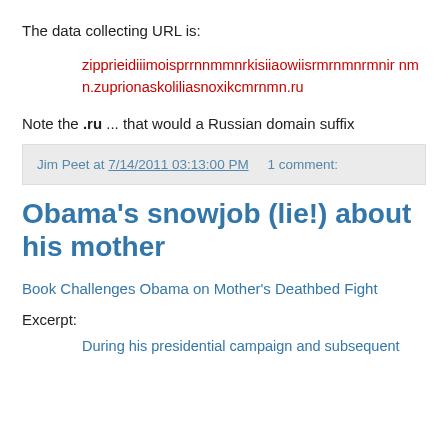The data collecting URL is:
zipprieidiiimoisprrnnmmnrkisiiaowiisrmrnmnrmnir nmn.zuprionaskoliliasnoxikcmrnmn.ru
Note the .ru ... that would a Russian domain suffix
Jim Peet at 7/14/2011 03:13:00 PM    1 comment:
Obama's snowjob (lie!) about his mother
Book Challenges Obama on Mother's Deathbed Fight
Excerpt:
During his presidential campaign and subsequent